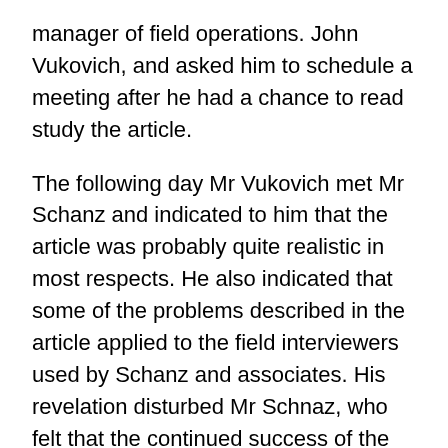manager of field operations. John Vukovich, and asked him to schedule a meeting after he had a chance to read study the article.
The following day Mr Vukovich met Mr Schanz and indicated to him that the article was probably quite realistic in most respects. He also indicated that some of the problems described in the article applied to the field interviewers used by Schanz and associates. His revelation disturbed Mr Schnaz, who felt that the continued success of the firm was dependent upon its ability to obtain high quality information from its field interviewing operations.
Is it not true, Mr Schanz asked, that in some 8 or 10 cities we regularly run one, and sometimes two, field studies each month, and in another dozen or so